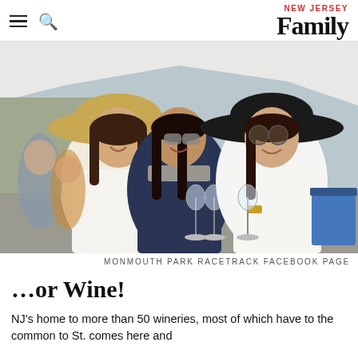NEW JERSEY Family
[Figure (photo): Three young women in summer attire holding wine glasses at an outdoor event, with tents and crowds in the background. Two women wear wide-brimmed hats and sunglasses.]
MONMOUTH PARK RACETRACK FACEBOOK PAGE
…or Wine!
NJ's home to more than 50 wineries, most of which have to the common to St. comes here and